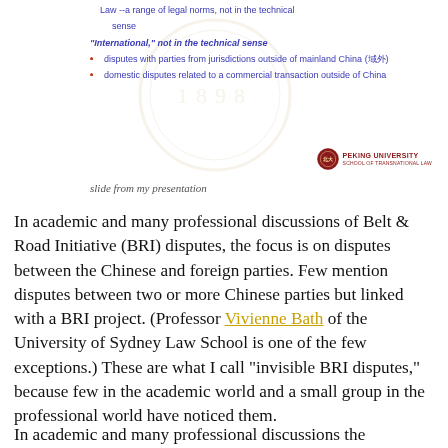[Figure (screenshot): Slide from a Peking University School of Transnational Law presentation showing bullet points about 'International' not in the technical sense: disputes with parties from jurisdictions outside of mainland China and domestic disputes related to a commercial transaction outside of China. Includes Peking University logo and watermark.]
slide from my presentation
In academic and many professional discussions of Belt & Road Initiative (BRI) disputes, the focus is on disputes between the Chinese and foreign parties.  Few mention disputes between two or more Chinese parties but linked with a BRI project.  (Professor Vivienne Bath of the University of Sydney Law School is one of the few exceptions.)   These are what I call "invisible  BRI disputes," because few in the academic world and a small group in the professional world have noticed them.
In academic and many professional discussions the